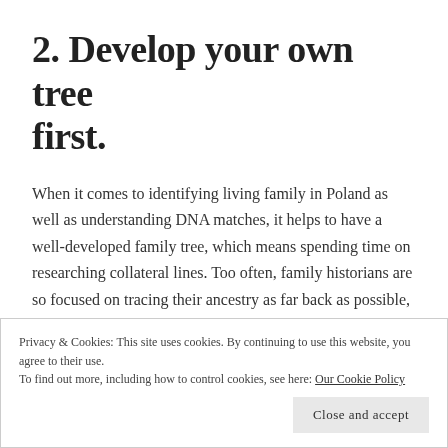2. Develop your own tree first.
When it comes to identifying living family in Poland as well as understanding DNA matches, it helps to have a well-developed family tree, which means spending time on researching collateral lines. Too often, family historians are so focused on tracing their ancestry as far back as possible, that they neglect thorough research into the families of each ancestor's siblings. By tracing all those lines forward in time, you'll know what surnames to look for, both in your ancestral villages, and in
Privacy & Cookies: This site uses cookies. By continuing to use this website, you agree to their use.
To find out more, including how to control cookies, see here: Our Cookie Policy
Close and accept